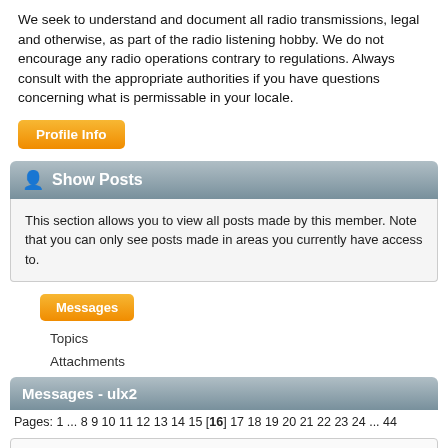We seek to understand and document all radio transmissions, legal and otherwise, as part of the radio listening hobby. We do not encourage any radio operations contrary to regulations. Always consult with the appropriate authorities if you have questions concerning what is permissable in your locale.
Profile Info
Show Posts
This section allows you to view all posts made by this member. Note that you can only see posts made in areas you currently have access to.
Messages
Topics
Attachments
Messages - ulx2
Pages: 1 ... 8 9 10 11 12 13 14 15 [16] 17 18 19 20 21 22 23 24 ... 44
226 ID and Translation Requests / Re: 5079 KHZ « on: January 29, 2019, 0928 UTC »